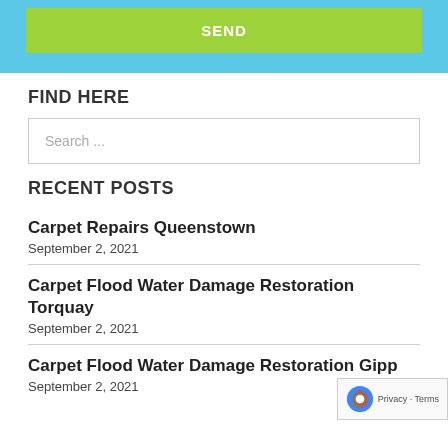[Figure (screenshot): Blue section with a green SEND button]
FIND HERE
Search ...
RECENT POSTS
Carpet Repairs Queenstown
September 2, 2021
Carpet Flood Water Damage Restoration Torquay
September 2, 2021
Carpet Flood Water Damage Restoration Gipp...
September 2, 2021